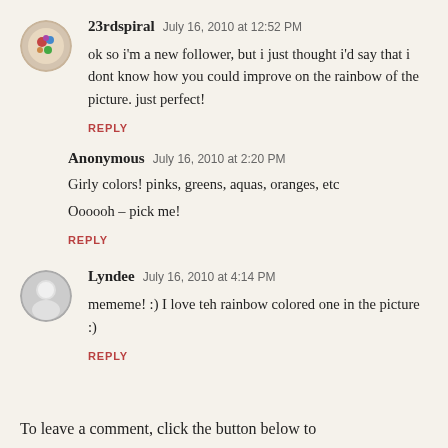23rdspiral  July 16, 2010 at 12:52 PM
ok so i'm a new follower, but i just thought i'd say that i dont know how you could improve on the rainbow of the picture. just perfect!
REPLY
Anonymous  July 16, 2010 at 2:20 PM
Girly colors! pinks, greens, aquas, oranges, etc
Oooooh – pick me!
REPLY
Lyndee  July 16, 2010 at 4:14 PM
mememe! :) I love teh rainbow colored one in the picture :)
REPLY
To leave a comment, click the button below to